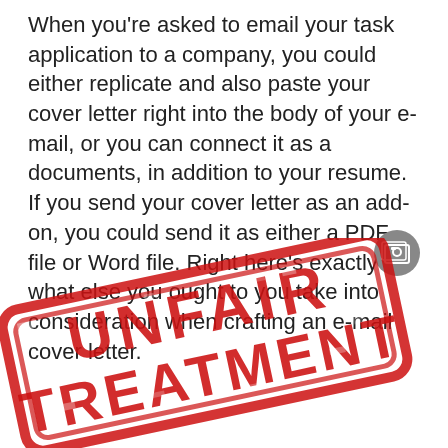When you're asked to email your task application to a company, you could either replicate and also paste your cover letter right into the body of your e-mail, or you can connect it as a documents, in addition to your resume. If you send your cover letter as an add-on, you could send it as either a PDF file or Word file. Right here's exactly what else you ought to you take into consideration when crafting an e-mail cover letter.
[Figure (illustration): A red rubber stamp with distressed texture reading 'UNFAIR TREATMENT' in bold uppercase letters on a white background, rotated slightly clockwise.]